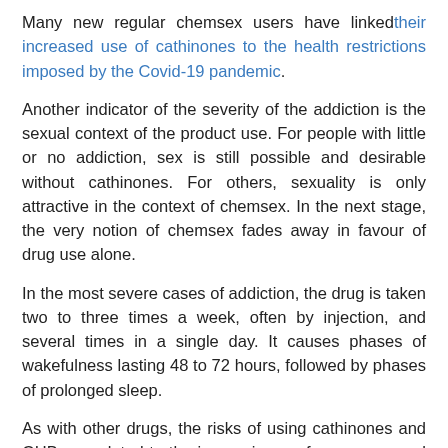Many new regular chemsex users have linked their increased use of cathinones to the health restrictions imposed by the Covid-19 pandemic.
Another indicator of the severity of the addiction is the sexual context of the product use. For people with little or no addiction, sex is still possible and desirable without cathinones. For others, sexuality is only attractive in the context of chemsex. In the next stage, the very notion of chemsex fades away in favour of drug use alone.
In the most severe cases of addiction, the drug is taken two to three times a week, often by injection, and several times in a single day. It causes phases of wakefulness lasting 48 to 72 hours, followed by phases of prolonged sleep.
As with other drugs, the risks of using cathinones and GHB are related to the inexperience of new users and the consequences of the addiction of experienced users, with deaths due to domestic or road accidents, suicide or cardiorespiratory arrest due to overdose.
The number of deaths directly or indirectly attributable